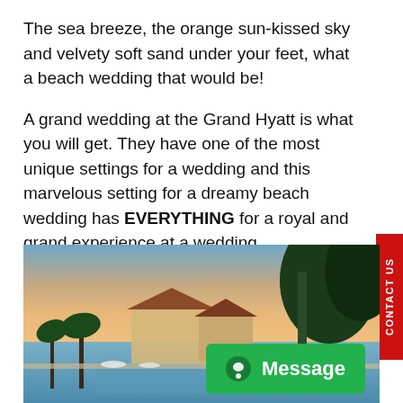The sea breeze, the orange sun-kissed sky and velvety soft sand under your feet, what a beach wedding that would be!
A grand wedding at the Grand Hyatt is what you will get. They have one of the most unique settings for a wedding and this marvelous setting for a dreamy beach wedding has EVERYTHING for a royal and grand experience at a wedding.
[Figure (photo): Sunset photo of Grand Hyatt resort with swimming pool, tropical buildings with red roofs, palm trees, and a warm orange-pink sunset sky in the background.]